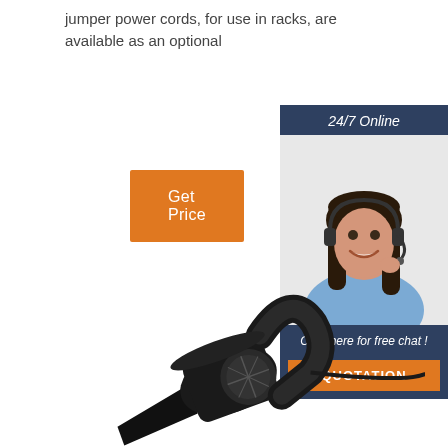jumper power cords, for use in racks, are available as an optional
Get Price
[Figure (photo): Customer service representative woman wearing headset, smiling, with 24/7 Online label and Click here for free chat! text above QUOTATION button]
[Figure (photo): Black handheld car vacuum cleaner with power cord and cigarette lighter adapter]